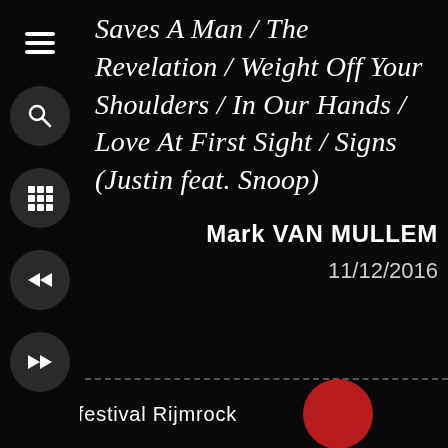[Figure (screenshot): Sidebar with hamburger menu icon, search button, grid button, rewind button, fast-forward button]
Saves A Man / The Revelation / Weight Off Your Shoulders / In Our Hands / Love At First Sight / Signs (Justin feat. Snoop)
Mark VAN MULLEM
11/12/2016
Het rockfestival Rijmrock